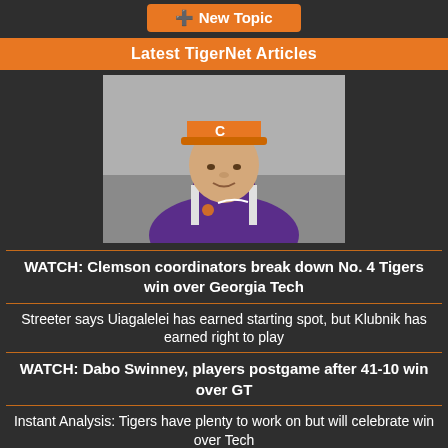+ New Topic
Latest TigerNet Articles
[Figure (photo): Man wearing orange Clemson cap and purple Clemson Nike polo shirt, seated, speaking to camera]
WATCH: Clemson coordinators break down No. 4 Tigers win over Georgia Tech
Streeter says Uiagalelei has earned starting spot, but Klubnik has earned right to play
WATCH: Dabo Swinney, players postgame after 41-10 win over GT
Instant Analysis: Tigers have plenty to work on but will celebrate win over Tech